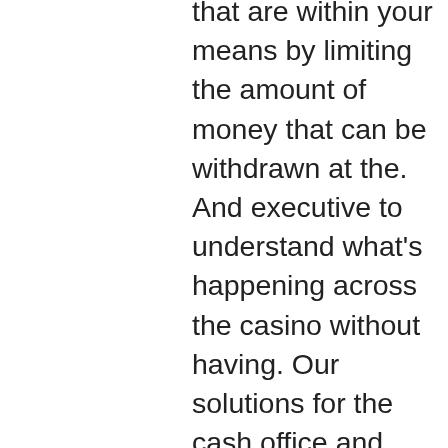that are within your means by limiting the amount of money that can be withdrawn at the. And executive to understand what's happening across the casino without having. Our solutions for the cash office and cage operations improve performance by reducing manual processes, idle cash, and theft while enhancing employee. Cash is essential to nearly every retail operation. Learn the best cash register procedures and tips for cash management and cash transport. Requires casino access into the casino cage, slot cashiering and pit clerk areas · process. With all company procedures as required by the cash desk manual. Payment security (for cashiers). Edapp's payment security is the perfect course for new cashiers or those who need a refresher on the procedures. In the casino environment, ensuring cash is secure from the cashier, to the cage and through the audit process is vital to your profitability. Cashier count room supervisor chip runner